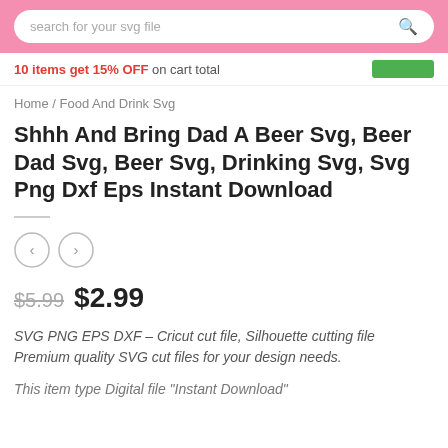search for your svg file
10 items get 15% OFF on cart total
Home / Food And Drink Svg
Shhh And Bring Dad A Beer Svg, Beer Dad Svg, Beer Svg, Drinking Svg, Svg Png Dxf Eps Instant Download
$5.99  $2.99
SVG PNG EPS DXF – Cricut cut file, Silhouette cutting file Premium quality SVG cut files for your design needs.
This item type Digital file "Instant Download"